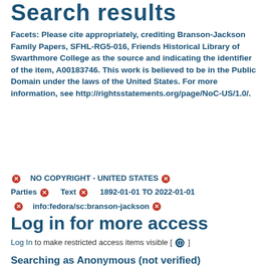Search results
Facets: Please cite appropriately, crediting Branson-Jackson Family Papers, SFHL-RG5-016, Friends Historical Library of Swarthmore College as the source and indicating the identifier of the item, A00183746. This work is believed to be in the Public Domain under the laws of the United States. For more information, see http://rightsstatements.org/page/NoC-US/1.0/.
NO COPYRIGHT - UNITED STATES  Parties  Text  1892-01-01 TO 2022-01-01  info:fedora/sc:branson-jackson
Log in for more access
Log In to make restricted access items visible [ ? ]
Searching as Anonymous (not verified)